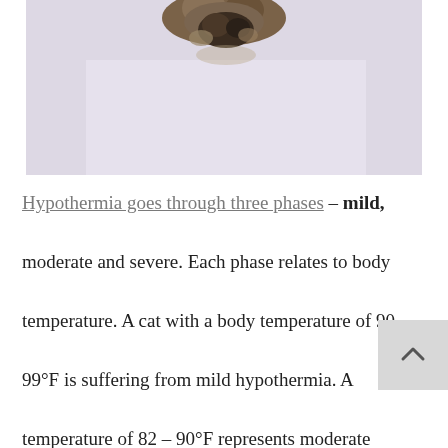[Figure (photo): A cat photographed from above, partially visible at top of frame against a light lavender/white background]
Hypothermia goes through three phases – mild, moderate and severe. Each phase relates to body temperature. A cat with a body temperature of 90 – 99°F is suffering from mild hypothermia. A temperature of 82 – 90°F represents moderate